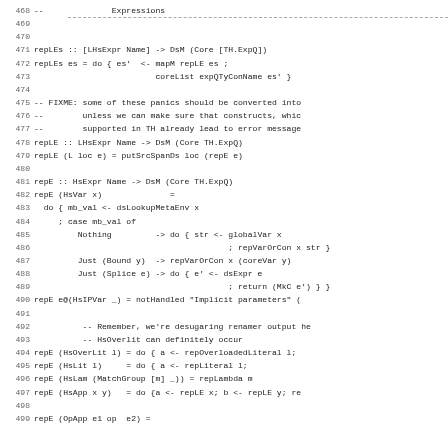Source code listing lines 468-499 of a Haskell file implementing expression desugaring (repLEs, repLE, repE functions)